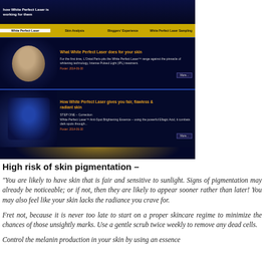[Figure (screenshot): Screenshot of L'Oreal White Perfect Laser website showing navigation bar with tabs (White Perfect Laser, Skin Analysis, Bloggers' Experience, White Perfect Laser Sampling), two content sections each with a left image and right text about the product. Top banner shows model image with text. Bottom section has a glowing light effect.]
High risk of skin pigmentation –
"You are likely to have skin that is fair and sensitive to sunlight. Signs of pigmentation may already be noticeable; or if not, then they are likely to appear sooner rather than later! You may also feel like your skin lacks the radiance you crave for.
Fret not, because it is never too late to start on a proper skincare regime to minimize the chances of those unsightly marks. Use a gentle scrub twice weekly to remove any dead cells.
Control the melanin production in your skin by using an essence